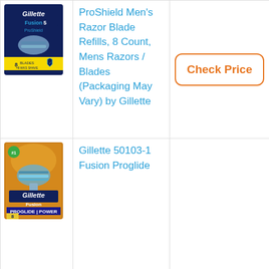[Figure (photo): Gillette Fusion5 ProShield 8-count razor blade refills package, dark blue background]
ProShield Men's Razor Blade Refills, 8 Count, Mens Razors / Blades (Packaging May Vary) by Gillette
Check Price
[Figure (photo): Gillette Fusion ProGlide Power 8-count razor blade refills package, gold/orange background]
Gillette 50103-1 Fusion Proglide